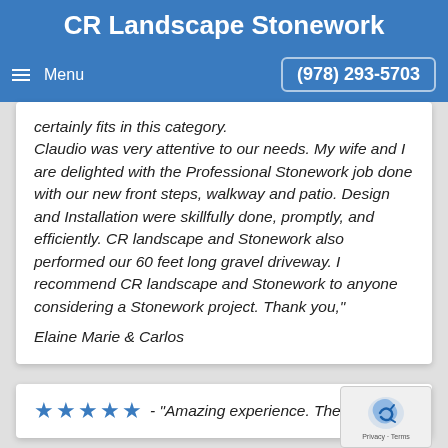CR Landscape Stonework
Menu   (978) 293-5703
certainly fits in this category. Claudio was very attentive to our needs. My wife and I are delighted with the Professional Stonework job done with our new front steps, walkway and patio. Design and Installation were skillfully done, promptly, and efficiently. CR landscape and Stonework also performed our 60 feet long gravel driveway. I recommend CR landscape and Stonework to anyone considering a Stonework project. Thank you,"
Elaine Marie & Carlos
★★★★★ - "Amazing experience. The guys dia